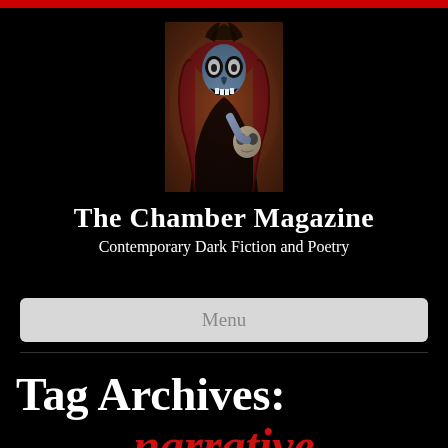[Figure (illustration): Dark fantasy illustration of a woman with skull face paint, red hair, holding a skull, against a brown background — the logo image for The Chamber Magazine]
The Chamber Magazine
Contemporary Dark Fiction and Poetry
Menu
Tag Archives:
narrative